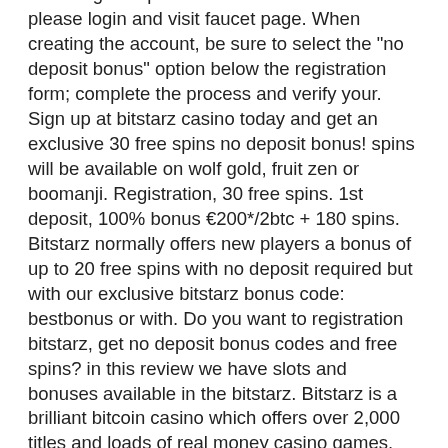bitstarz gratisspinn codes. More information please login and visit faucet page. When creating the account, be sure to select the "no deposit bonus" option below the registration form; complete the process and verify your. Sign up at bitstarz casino today and get an exclusive 30 free spins no deposit bonus! spins will be available on wolf gold, fruit zen or boomanji. Registration, 30 free spins. 1st deposit, 100% bonus €200*/2btc + 180 spins. Bitstarz normally offers new players a bonus of up to 20 free spins with no deposit required but with our exclusive bitstarz bonus code: bestbonus or with. Do you want to registration bitstarz, get no deposit bonus codes and free spins? in this review we have slots and bonuses available in the bitstarz. Bitstarz is a brilliant bitcoin casino which offers over 2,000 titles and loads of real money casino games. Sign up for a free account and get. It had been launched back